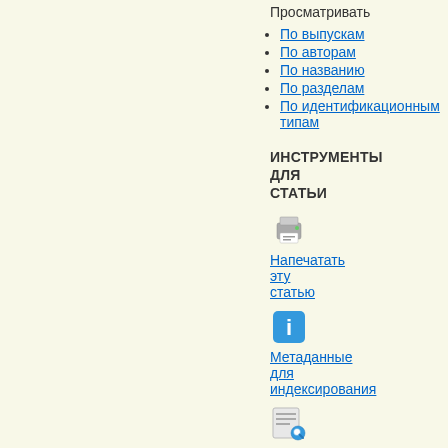Просматривать
По выпускам
По авторам
По названию
По разделам
По идентификационным типам
ИНСТРУМЕНТЫ ДЛЯ СТАТЬИ
[Figure (illustration): Printer icon]
Напечатать эту статью
[Figure (illustration): Info icon - blue square with letter i]
Метаданные для индексирования
[Figure (illustration): Search/document icon]
Как